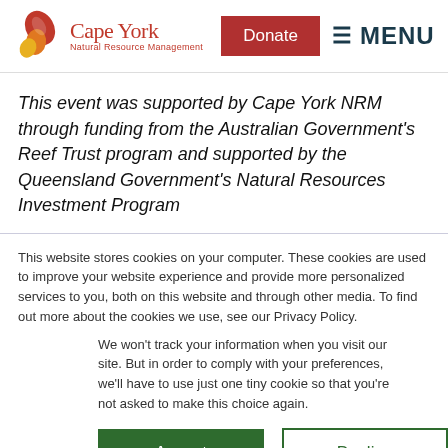[Figure (logo): Cape York Natural Resource Management logo with leaf icon in red, orange, and yellow, and red text reading Cape York Natural Resource Management]
This event was supported by Cape York NRM through funding from the Australian Government's Reef Trust program and supported by the Queensland Government's Natural Resources Investment Program
This website stores cookies on your computer. These cookies are used to improve your website experience and provide more personalized services to you, both on this website and through other media. To find out more about the cookies we use, see our Privacy Policy.
We won't track your information when you visit our site. But in order to comply with your preferences, we'll have to use just one tiny cookie so that you're not asked to make this choice again.
Accept
Decline